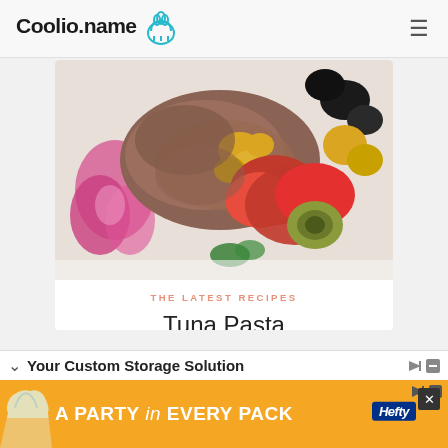Coolio.name
[Figure (photo): A colorful tuna pasta salad dish with red peppers, black olives, corn, and pink radish flower garnish on a white plate.]
THE LATEST RECIPES
Tuna Pasta
Your Custom Storage Solution
[Figure (photo): Hefty advertisement: A PARTY in EVERY PACK with Hefty logo and orange bag illustration.]